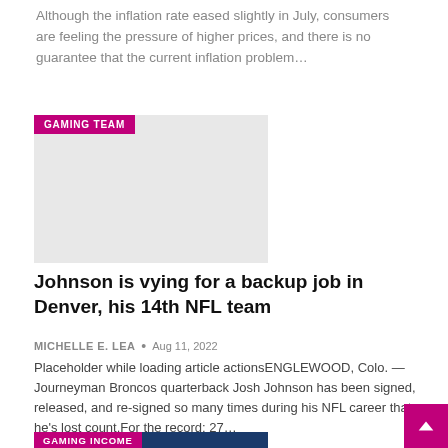Although the inflation rate eased slightly in July, consumers are feeling the pressure of higher prices, and there is no guarantee that the current inflation problem…
[Figure (photo): Gray placeholder image with a 'GAMING TEAM' magenta badge in the top left corner]
Johnson is vying for a backup job in Denver, his 14th NFL team
MICHELLE E. LEA  •  Aug 11, 2022
Placeholder while loading article actionsENGLEWOOD, Colo. — Journeyman Broncos quarterback Josh Johnson has been signed, released, and re-signed so many times during his NFL career that he's lost count.For the record: 27…
[Figure (photo): Partial bottom card image showing 'GAMING INCOME' badge in magenta and a dark blue background with gold 'PAYDAY' text partially visible]